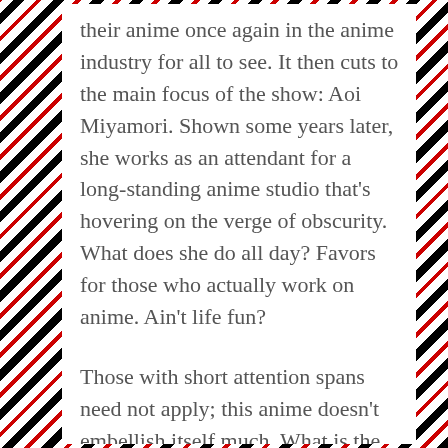their anime once again in the anime industry for all to see. It then cuts to the main focus of the show: Aoi Miyamori. Shown some years later, she works as an attendant for a long-standing anime studio that's hovering on the verge of obscurity. What does she do all day? Favors for those who actually work on anime. Ain't life fun?
Those with short attention spans need not apply; this anime doesn't embellish itself much. What is the one word I would use to describe this anime? Work. That's what it is. It's working in the anime industry. It shows what each role